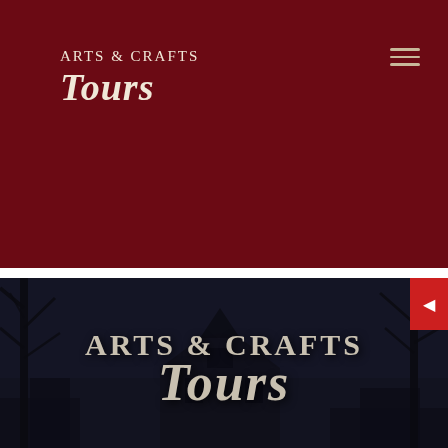[Figure (screenshot): Website header with dark red/maroon background showing Arts & Crafts Tours logo in top-left corner in an ornate medieval-style font, hamburger menu icon in top-right, a thin white strip below the header, a red back-arrow button on the right edge, and a hero section below with a dark atmospheric photo of a Tudor-style building with bare trees and the Arts & Crafts Tours logo overlaid in large ornate text.]